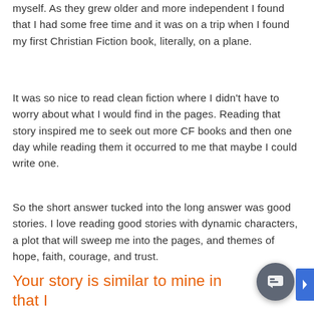myself. As they grew older and more independent I found that I had some free time and it was on a trip when I found my first Christian Fiction book, literally, on a plane.
It was so nice to read clean fiction where I didn't have to worry about what I would find in the pages. Reading that story inspired me to seek out more CF books and then one day while reading them it occurred to me that maybe I could write one.
So the short answer tucked into the long answer was good stories. I love reading good stories with dynamic characters, a plot that will sweep me into the pages, and themes of hope, faith, courage, and trust.
Your story is similar to mine in that I